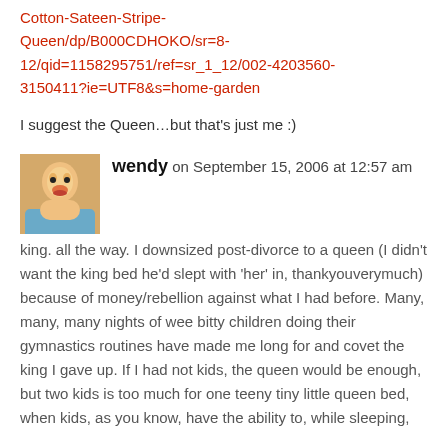Cotton-Sateen-Stripe-Queen/dp/B000CDHOKO/sr=8-12/qid=1158295751/ref=sr_1_12/002-4203560-3150411?ie=UTF8&s=home-garden
I suggest the Queen…but that's just me :)
wendy on September 15, 2006 at 12:57 am
king. all the way. I downsized post-divorce to a queen (I didn't want the king bed he'd slept with 'her' in, thankyouverymuch) because of money/rebellion against what I had before. Many, many, many nights of wee bitty children doing their gymnastics routines have made me long for and covet the king I gave up. If I had not kids, the queen would be enough, but two kids is too much for one teeny tiny little queen bed, when kids, as you know, have the ability to, while sleeping,